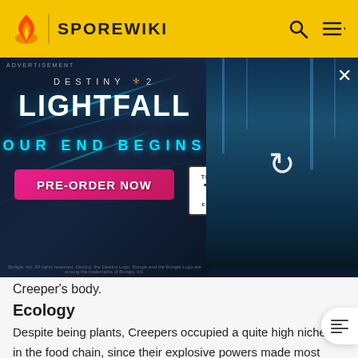SPOREWIKI
[Figure (screenshot): Destiny 2 Lightfall advertisement banner. Dark blue background with cyan light streaks. Text reads 'DESTINY 2 LIGHTFALL OUR END BEGINS' with a pink button 'PRE-ORDER NOW', TEEN ESRB rating box, and a character with futuristic armor on the right side.]
Creeper's body.
Ecology
Despite being plants, Creepers occupied a quite high niche in the food chain, since their explosive powers made most herbivores afraid of eating them. Their only natural dangers were humans, which would often kill them in order to protect themselves. This is the reason Creepers were hunted to extinction, thus no longer